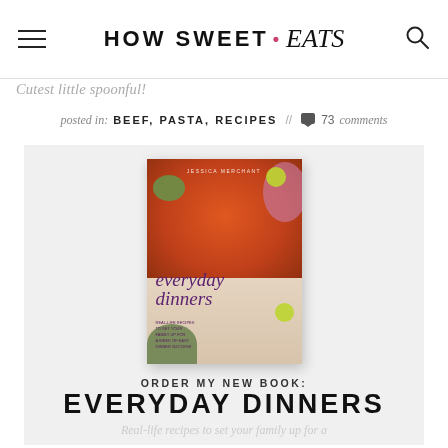HOW SWEET • eats
Cutest little spoonful!
posted in: BEEF, PASTA, RECIPES // 💬 73 comments
[Figure (photo): Book cover of 'everyday dinners' by Jessica Merchant, showing a bowl of orange soup with avocado and herbs, limes, and a side salad on a light background]
ORDER MY NEW BOOK:
EVERYDAY DINNERS
Real-life recipes to set your family up for a